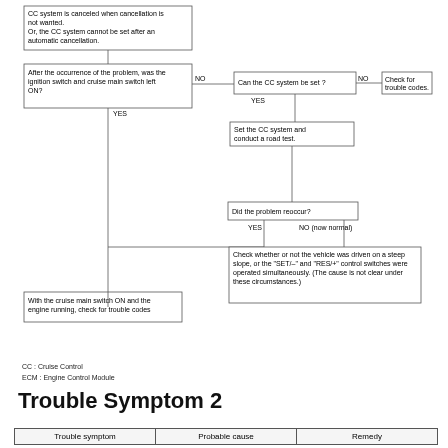[Figure (flowchart): Cruise control diagnostic flowchart showing decision tree starting from 'CC system is canceled when cancellation is not wanted' through checks for ignition/cruise main switch, CC system settability, road test, problem reoccurrence, and ending at trouble code checks or slope/switch check.]
CC : Cruise Control
ECM : Engine Control Module
Trouble Symptom 2
| Trouble symptom | Probable cause | Remedy |
| --- | --- | --- |